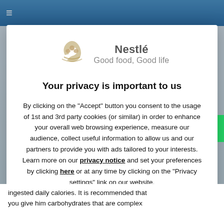[Figure (screenshot): Nestlé website background with blue navigation bar and hamburger menu icon visible behind a modal dialog]
[Figure (logo): Nestlé logo with bird nest icon and tagline 'Good food, Good life']
Your privacy is important to us
By clicking on the "Accept" button you consent to the usage of 1st and 3rd party cookies (or similar) in order to enhance your overall web browsing experience, measure our audience, collect useful information to allow us and our partners to provide you with ads tailored to your interests. Learn more on our privacy notice and set your preferences by clicking here or at any time by clicking on the "Privacy settings" link on our website.
Decline
Accept
ingested daily calories. It is recommended that you give him carbohydrates that are complex